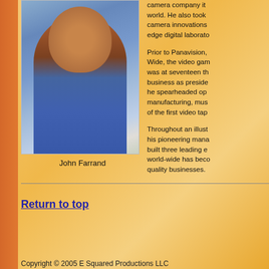[Figure (photo): Portrait photo of John Farrand, a man wearing a blue shirt, smiling, against a light background]
John Farrand
camera company it world. He also took camera innovations edge digital laborato
Prior to Panavision, Wide, the video gam was at seventeen th business as preside he spearheaded op manufacturing, mus of the first video tap
Throughout an illust his pioneering mana built three leading e world-wide has beco quality businesses.
Return to top
Copyright © 2005 E Squared Productions LLC